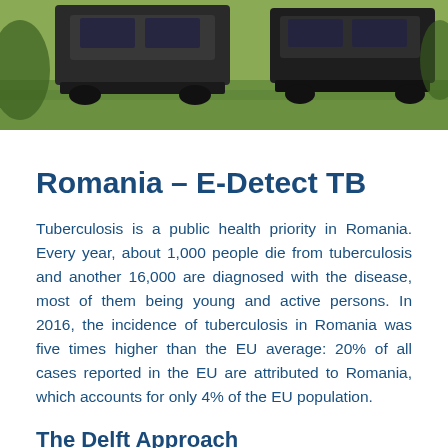[Figure (photo): Photograph showing vehicles parked on grass, partial view at top of page]
Romania – E-Detect TB
Tuberculosis is a public health priority in Romania. Every year, about 1,000 people die from tuberculosis and another 16,000 are diagnosed with the disease, most of them being young and active persons. In 2016, the incidence of tuberculosis in Romania was five times higher than the EU average: 20% of all cases reported in the EU are attributed to Romania, which accounts for only 4% of the EU population.
The Delft Approach